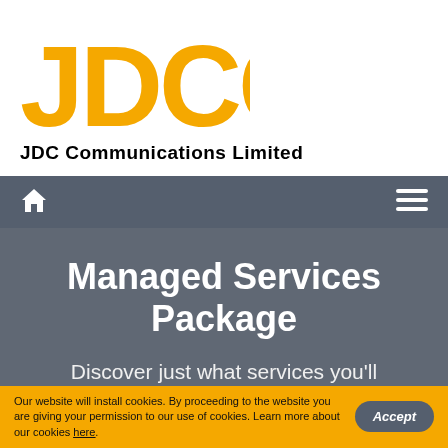[Figure (logo): JDCC logo in orange/yellow with bold rounded letters, above tagline 'JDC Communications Limited']
[Figure (screenshot): Dark grey navigation bar with home icon on left and hamburger menu icon on right]
Managed Services Package
Discover just what services you'll get for your server using the Managed Services...
Our website will install cookies. By proceeding to the website you are giving your permission to our use of cookies. Learn more about our cookies here.